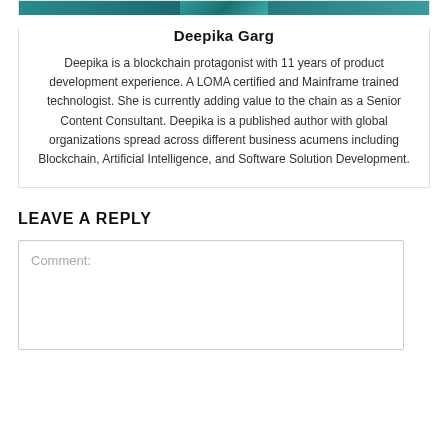[Figure (photo): Cropped top of author profile photo of Deepika Garg]
Deepika Garg
Deepika is a blockchain protagonist with 11 years of product development experience. A LOMA certified and Mainframe trained technologist. She is currently adding value to the chain as a Senior Content Consultant. Deepika is a published author with global organizations spread across different business acumens including Blockchain, Artificial Intelligence, and Software Solution Development.
LEAVE A REPLY
Comment: